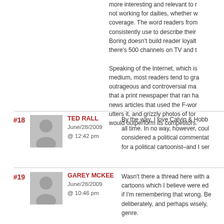more interesting and relevant to readers not working for dailies, whether w coverage. The word readers from consistently use to describe their Boring doesn't build reader loyalt there's 500 channels on TV and t

Speaking of the Internet, which is medium, most readers tend to gra outrageous and controversial ma that a print newspaper that ran ha news articles that used the F-wor utters it, and grizzly photos of tor would outperform its competitors.
#18
TED RALL
June/28/2009
@ 12:42 pm
By the way, I love Calvin & Hobb all time. In no way, however, coul considered a political commentat for a political cartoonist–and I ser
#19
GAREY MCKEE
June/28/2009
@ 10:46 pm
Wasn't there a thread here with a cartoons which I believe were ed if I'm remembering that wrong. Be deliberately, and perhaps wisely, genre.